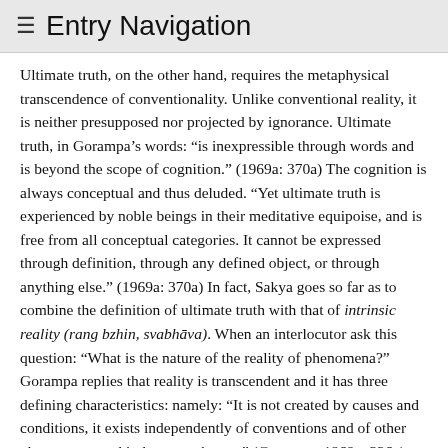≡ Entry Navigation
Ultimate truth, on the other hand, requires the metaphysical transcendence of conventionality. Unlike conventional reality, it is neither presupposed nor projected by ignorance. Ultimate truth, in Gorampa's words: “is inexpressible through words and is beyond the scope of cognition.” (1969a: 370a) The cognition is always conceptual and thus deluded. “Yet ultimate truth is experienced by noble beings in their meditative equipoise, and is free from all conceptual categories. It cannot be expressed through definition, through any defined object, or through anything else.” (1969a: 370a) In fact, Sakya goes so far as to combine the definition of ultimate truth with that of intrinsic reality (rang bzhin, svabhāva). When an interlocutor ask this question: “What is the nature of the reality of phenomena?” Gorampa replies that reality is transcendent and it has three defining characteristics: namely: “It is not created by causes and conditions, it exists independently of conventions and of other phenomena; and it does not change.” (Gorampa, 1969c: 326a) Like Nāgārjuna’s hypothetical, not real, intrinsic